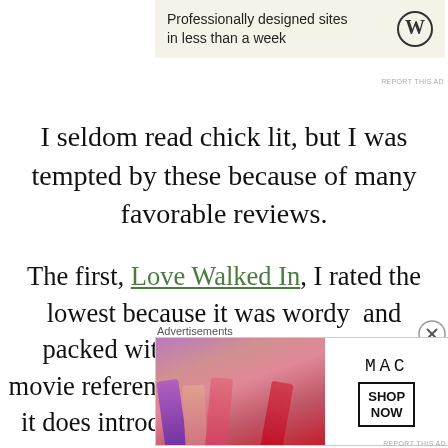[Figure (other): WordPress advertisement banner: 'Professionally designed sites in less than a week' with WordPress logo]
REPORT THIS AD
I seldom read chick lit, but I was tempted by these because of many favorable reviews.
The first, Love Walked In, I rated the lowest because it was wordy and packed with too many literary and movie references for my taste. However, it does introduce the characters for the
Advertisements
[Figure (other): MAC cosmetics advertisement showing lipsticks with 'SHOP NOW' call to action]